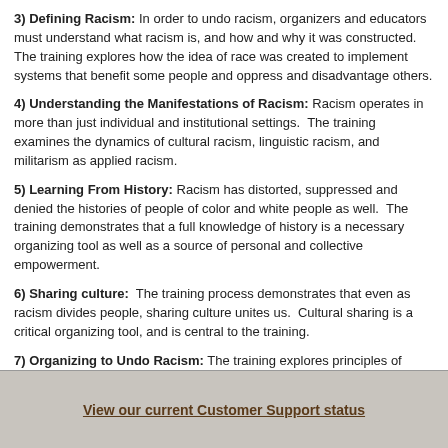3) Defining Racism: In order to undo racism, organizers and educators must understand what racism is, and how and why it was constructed. The training explores how the idea of race was created to implement systems that benefit some people and oppress and disadvantage others.
4) Understanding the Manifestations of Racism: Racism operates in more than just individual and institutional settings. The training examines the dynamics of cultural racism, linguistic racism, and militarism as applied racism.
5) Learning From History: Racism has distorted, suppressed and denied the histories of people of color and white people as well. The training demonstrates that a full knowledge of history is a necessary organizing tool as well as a source of personal and collective empowerment.
6) Sharing culture: The training process demonstrates that even as racism divides people, sharing culture unites us. Cultural sharing is a critical organizing tool, and is central to the training.
7) Organizing to Undo Racism: The training explores principles of effective organizing, strategic techniques of community empowerment, the importance of community accountability, and the internal dynamics of leadership development.
View our current Customer Support status